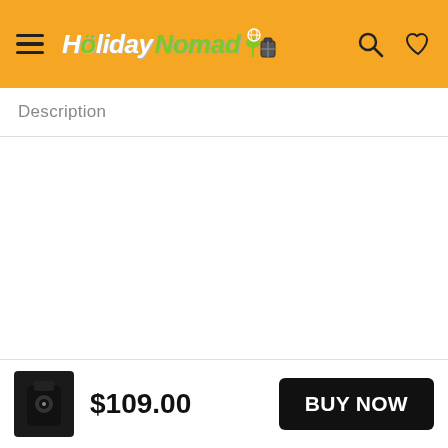HolidayNomad — navigation header with hamburger menu, logo, search and wishlist icons
Description
$109.00
BUY NOW